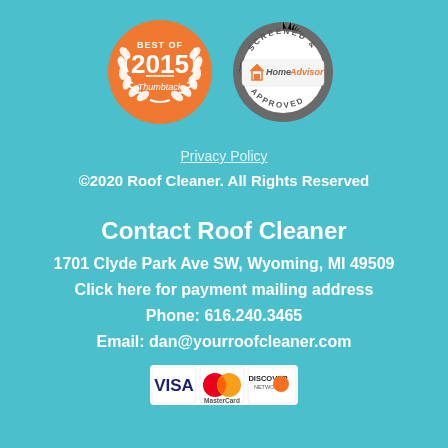[Figure (logo): Thumbtack Best of 2015 orange circular badge with laurel wreath]
[Figure (logo): HomeAdvisor Screened & Approved silver gear-shaped badge]
Privacy Policy
©2020 Roof Cleaner. All Rights Reserved
Contact Roof Cleaner
1701 Clyde Park Ave SW, Wyoming, MI 49509
Click here for payment mailing address
Phone: 616.240.3465
Email: dan@yourroofcleaner.com
[Figure (logo): Visa, MasterCard, and Discover credit card logos]